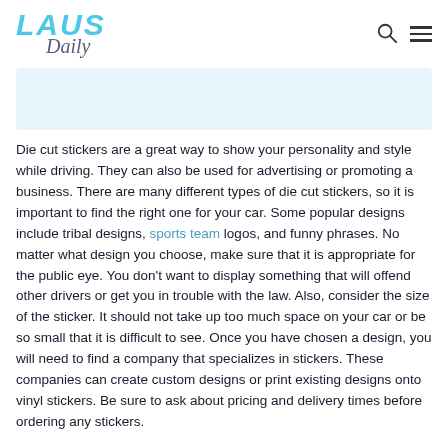LAUS Daily
[Figure (other): Light blue banner/advertisement placeholder rectangle]
Die cut stickers are a great way to show your personality and style while driving. They can also be used for advertising or promoting a business. There are many different types of die cut stickers, so it is important to find the right one for your car. Some popular designs include tribal designs, sports team logos, and funny phrases. No matter what design you choose, make sure that it is appropriate for the public eye. You don't want to display something that will offend other drivers or get you in trouble with the law. Also, consider the size of the sticker. It should not take up too much space on your car or be so small that it is difficult to see. Once you have chosen a design, you will need to find a company that specializes in stickers. These companies can create custom designs or print existing designs onto vinyl stickers. Be sure to ask about pricing and delivery times before ordering any stickers.